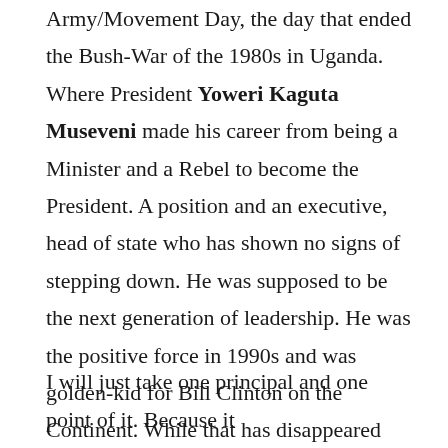Army/Movement Day, the day that ended the Bush-War of the 1980s in Uganda. Where President Yoweri Kaguta Museveni made his career from being a Minister and a Rebel to become the President. A position and an executive, head of state who has shown no signs of stepping down. He was supposed to be the next generation of leadership. He was the positive force in 1990s and was golden-kid for Bill Clinton on the Continent. While that has disappeared and with time his legacy has withered. Museveni has closely become all the things he fought against, he still tries to use the language and the charisma that he had in his younger days. But its all facade, it isn't the real deal. That I why I don't care to drastically demolish the whole speech.
I will just take one principal and one point of it. Because it